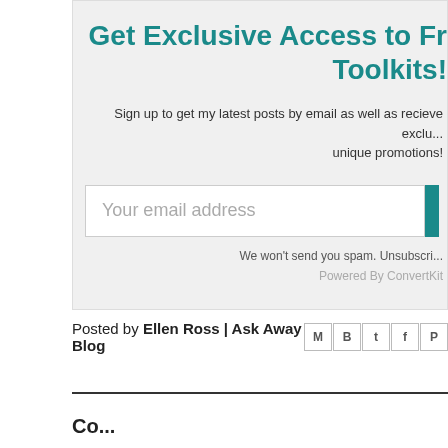Get Exclusive Access to Free Toolkits!
Sign up to get my latest posts by email as well as recieve exclusive unique promotions!
Your email address
We won't send you spam. Unsubscri...
Powered By ConvertKit
Posted by Ellen Ross | Ask Away Blog
Comments